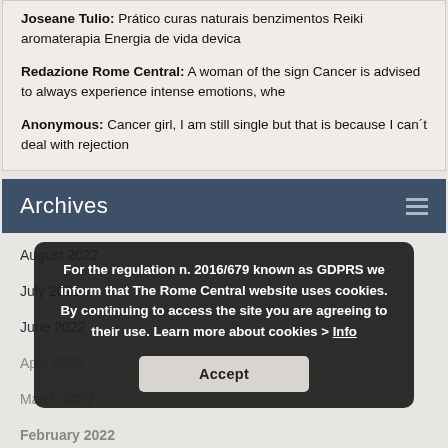Joseane Tulio: Prático curas naturais benzimentos Reiki aromaterapia Energia de vida devica
Redazione Rome Central: A woman of the sign Cancer is advised to always experience intense emotions, whe
Anonymous: Cancer girl, I am still single but that is because I can´t deal with rejection
Archives
August 2022
July 2022
June 2022
April 2022
March 2022
February 2022
January 2022
For the regulation n. 2016/679 known as GDPRS we inform that The Rome Central website uses cookies. By continuing to access the site you are agreeing to their use. Learn more about cookies > Info
Accept